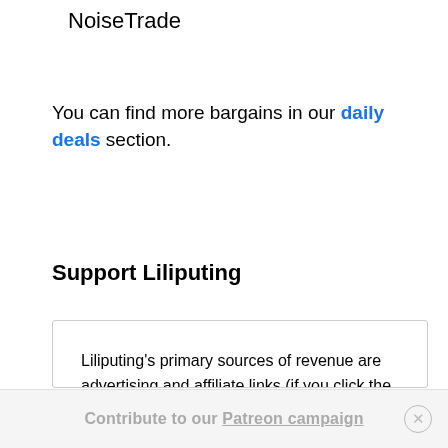NoiseTrade
You can find more bargains in our daily deals section.
Support Liliputing
Liliputing's primary sources of revenue are advertising and affiliate links (if you click the "Shop" button at the top of the page and buy something on Amazon, for example, we'll get a small commission).

But there are several ways you can support the site directly even if you're using an ad blocker* and hate online shopping.
Contribute to our Patreon campaign